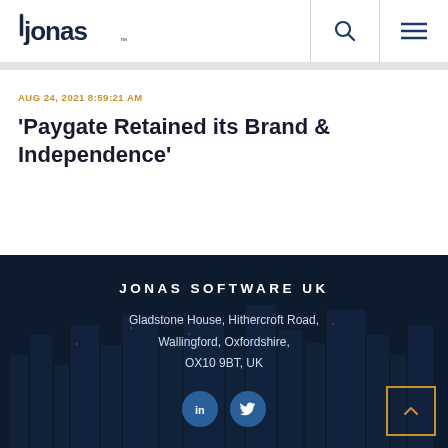Jonas Software UK - Navigation header with logo, search, and menu
AUG 24, 2021 8:59:21 AM
'Paygate Retained its Brand & Independence'
JONAS SOFTWARE UK
Gladstone House, Hithercroft Road,
Wallingford, Oxfordshire,
OX10 9BT, UK